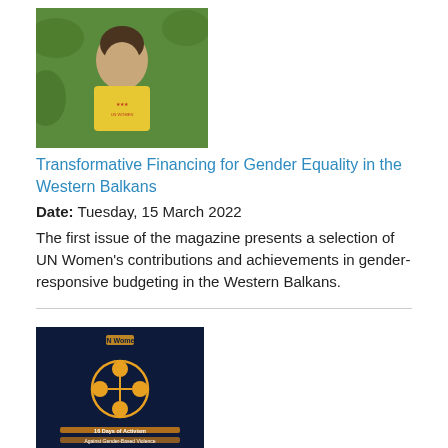[Figure (photo): Cover image of a publication showing a person in a yellow sweater outdoors with green foliage background]
Transformative Financing for Gender Equality in the Western Balkans
Date: Tuesday, 15 March 2022
The first issue of the magazine presents a selection of UN Women's contributions and achievements in gender-responsive budgeting in the Western Balkans.
[Figure (photo): Dark navy blue cover of a report titled '16 Days of Activism Against Gender-Based Violence' with an orange circular emblem design]
16 Days of Activism Against Gender-Based Violence Campaign
Date: Thursday, 17 February 2022
This report presents the outcomes of the #RaiseYourVoice campaign, launched by UN Women. To learn about the 16 Days of...